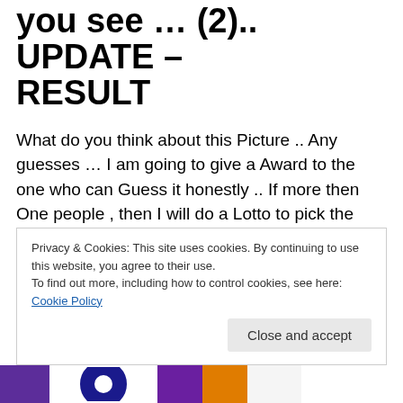you see … (2).. UPDATE – RESULT
What do you think about this Picture .. Any guesses … I am going to give a Award to the one who can Guess it honestly .. If more then One people , then I will do a Lotto to pick the name out.. I know I am a Miser I will give to only 5 people 😊 so get going … All the best ..
All the pictures below are genuine logo's of reputed companies but they all have very unique interesting things to see in the Logo.. Can you see what it is .. AND NO
Privacy & Cookies: This site uses cookies. By continuing to use this website, you agree to their use.
To find out more, including how to control cookies, see here: Cookie Policy
[Figure (logo): Partial view of colorful company logos at the bottom of the page]